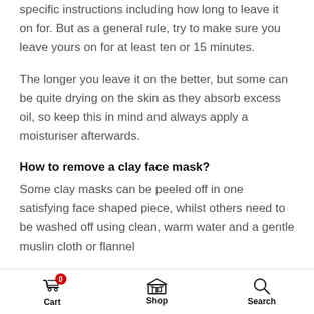specific instructions including how long to leave it on for. But as a general rule, try to make sure you leave yours on for at least ten or 15 minutes.
The longer you leave it on the better, but some can be quite drying on the skin as they absorb excess oil, so keep this in mind and always apply a moisturiser afterwards.
How to remove a clay face mask?
Some clay masks can be peeled off in one satisfying face shaped piece, whilst others need to be washed off using clean, warm water and a gentle muslin cloth or flannel
Cart  Shop  Search